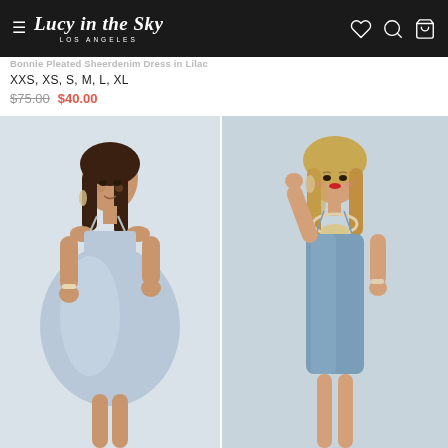Lucy in the Sky LOS ANGELES
Bonnie Pleated Sheerdenim Dress in Lilac
XXS, XS, S, M, L, XL
$75.00 $40.00
[Figure (photo): Model wearing light blue/lilac spaghetti strap pleated mini skater dress with side cutouts, flowy skirt, posed outdoors against white background]
[Figure (photo): Model wearing light blue/steel blue spaghetti strap bodycon mini dress with scoop neck, wearing statement necklace and bracelet]